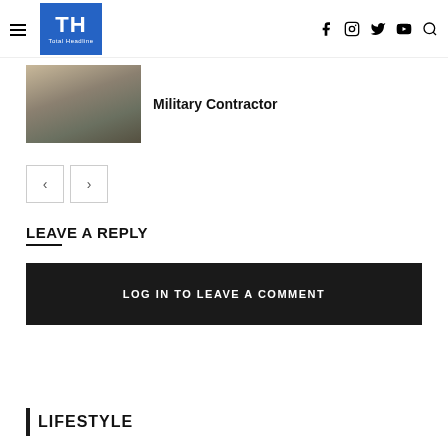TH Total Headline — social icons: f, instagram, twitter, youtube, search
[Figure (photo): Small thumbnail photo of military personnel with a weapon in a desert setting]
Military Contractor
< >  navigation buttons
LEAVE A REPLY
LOG IN TO LEAVE A COMMENT
LIFESTYLE